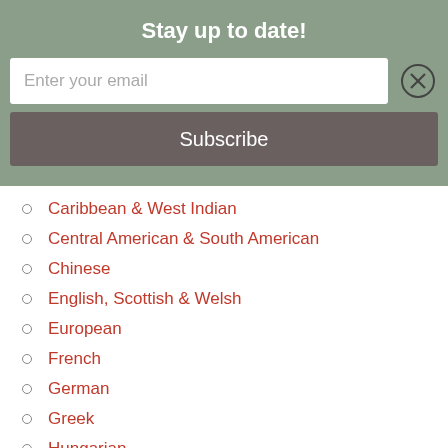Stay up to date!
Enter your email
Subscribe
Caribbean & West Indian
Central American & South American
Chinese
English, Scottish & Welsh
European
French
German
Greek
Hungarian
Indian & South Asian
Indigenous Food of the Americas
International
Irish